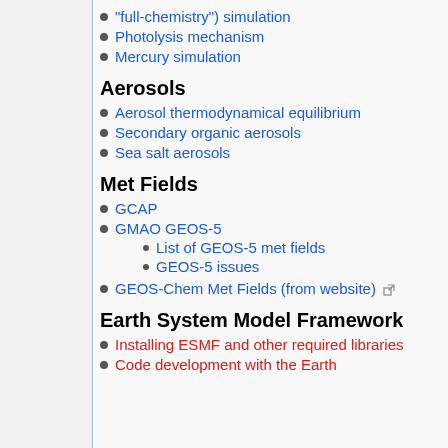"full-chemistry") simulation
Photolysis mechanism
Mercury simulation
Aerosols
Aerosol thermodynamical equilibrium
Secondary organic aerosols
Sea salt aerosols
Met Fields
GCAP
GMAO GEOS-5
List of GEOS-5 met fields
GEOS-5 issues
GEOS-Chem Met Fields (from website)
Earth System Model Framework
Installing ESMF and other required libraries
Code development with the Earth...